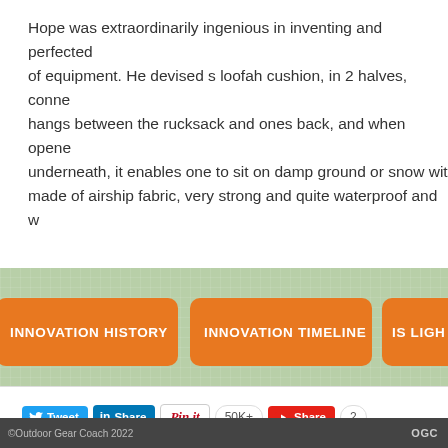Hope was extraordinarily ingenious in inventing and perfecting of equipment. He devised s loofah cushion, in 2 halves, conne hangs between the rucksack and ones back, and when opene underneath, it enables one to sit on damp ground or snow wit made of airship fabric, very strong and quite waterproof and w
INNOVATION HISTORY
INNOVATION TIMELINE
IS LIGH
Tweet Share Pin it 50K+ Share 2
©Outdoor Gear Coach 2022   OGC